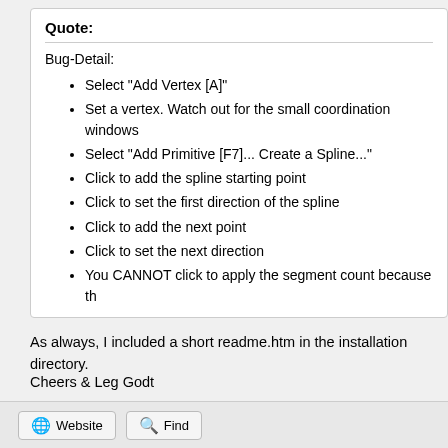Quote:
Bug-Detail:
Select "Add Vertex [A]"
Set a vertex. Watch out for the small coordination windows
Select "Add Primitive [F7]... Create a Spline..."
Click to add the spline starting point
Click to set the first direction of the spline
Click to add the next point
Click to set the next direction
You CANNOT click to apply the segment count because th
As always, I included a short readme.htm in the installation directory.
Cheers & Leg Godt
Nils
Website   Find